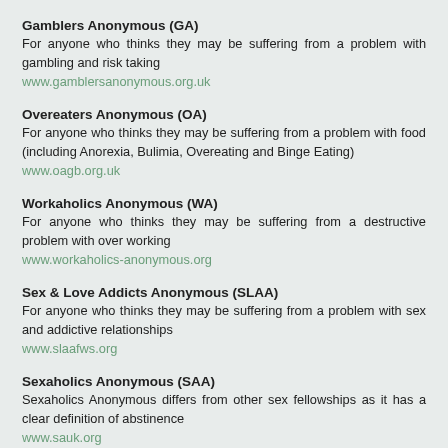Gamblers Anonymous (GA)
For anyone who thinks they may be suffering from a problem with gambling and risk taking
www.gamblersanonymous.org.uk
Overeaters Anonymous (OA)
For anyone who thinks they may be suffering from a problem with food (including Anorexia, Bulimia, Overeating and Binge Eating)
www.oagb.org.uk
Workaholics Anonymous (WA)
For anyone who thinks they may be suffering from a destructive problem with over working
www.workaholics-anonymous.org
Sex & Love Addicts Anonymous (SLAA)
For anyone who thinks they may be suffering from a problem with sex and addictive relationships
www.slaafws.org
Sexaholics Anonymous (SAA)
Sexaholics Anonymous differs from other sex fellowships as it has a clear definition of abstinence
www.sauk.org